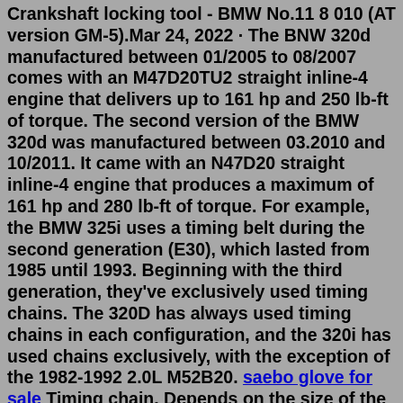Crankshaft locking tool - BMW No.11 8 010 (AT version GM-5).Mar 24, 2022 · The BNW 320d manufactured between 01/2005 to 08/2007 comes with an M47D20TU2 straight inline-4 engine that delivers up to 161 hp and 250 lb-ft of torque. The second version of the BMW 320d was manufactured between 03.2010 and 10/2011. It came with an N47D20 straight inline-4 engine that produces a maximum of 161 hp and 280 lb-ft of torque. For example, the BMW 325i uses a timing belt during the second generation (E30), which lasted from 1985 until 1993. Beginning with the third generation, they've exclusively used timing chains. The 320D has always used timing chains in each configuration, and the 320i has used chains exclusively, with the exception of the 1982-1992 2.0L M52B20. saebo glove for sale Timing chain. Depends on the size of the runflats. 17" marginal. 18" hard. The way to make it more comfortable is to switch to 16" wheels with 205/60 non runflat tyres and then find a way to fix a spare into the load deck. Tags: automatics buying a used car cam belt or chain